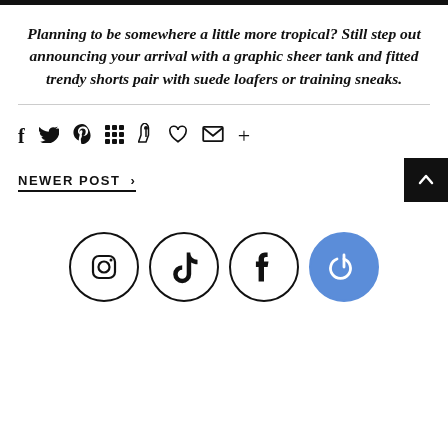Planning to be somewhere a little more tropical? Still step out announcing your arrival with a graphic sheer tank and fitted trendy shorts pair with suede loafers or training sneaks.
[Figure (other): Social share icons row: Facebook, Twitter, Pinterest, Grid/Apps, Pocket, Heart, Email, Plus]
NEWER POST >
[Figure (other): Four social media circle icons: Instagram, TikTok, Facebook, Power/Feedly (blue)]